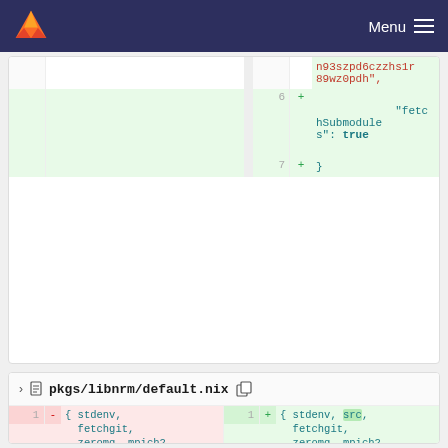Menu
[Figure (screenshot): Partial diff view showing lines 6-7 with green added lines: line 6 adds '"fetchSubmodules": true' and line 7 adds '}']
pkgs/libnrm/default.nix
[Figure (screenshot): Split diff view of pkgs/libnrm/default.nix showing removed lines on left (lines 1-4) and added lines on right (lines 1-4). Left side: line 1 removed '{ stdenv, fetchgit, zeromq, mpich2, gfortran }:', line 2 'stdenv.mkDerivation {', line 3 'name = "libnrm";', line 4 removed 'src = fetchgit {'. Right side: line 1 added '{ stdenv, src, fetchgit, zeromq, mpich2, gfortran }:', line 2 'stdenv.mkDerivation {', line 3 added 'inherit src;', line 4 'name = "libnrm";']